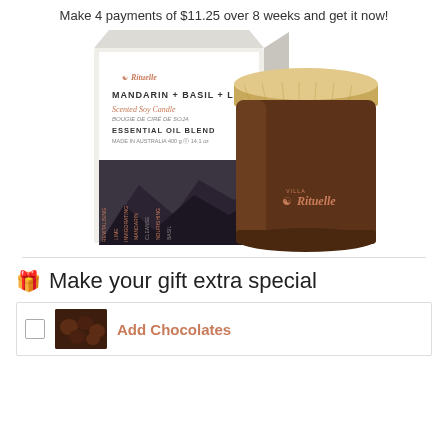Make 4 payments of $11.25 over 8 weeks and get it now!
[Figure (photo): Rituelle Mandarin + Basil + Lime Scented Soy Candle product shot with box packaging. Dark amber glass candle jar with bamboo lid and Rituelle brand logo, alongside product box with mountain design.]
🎁 Make your gift extra special
Add Chocolates